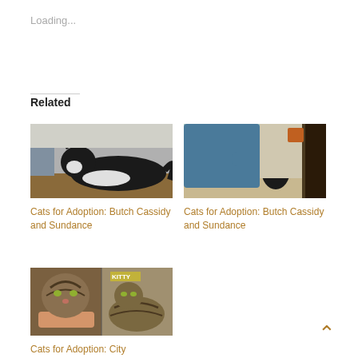Loading...
Related
[Figure (photo): Black and white cat lying on a wooden surface]
Cats for Adoption: Butch Cassidy and Sundance
[Figure (photo): Person petting a black and white cat indoors]
Cats for Adoption: Butch Cassidy and Sundance
[Figure (photo): Two tabby cats — one being held, one lying down with KITTY text overlay]
Cats for Adoption: City